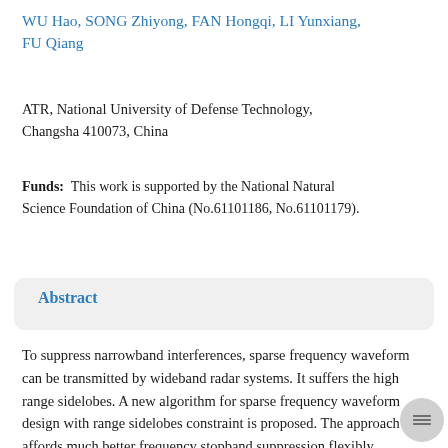WU Hao, SONG Zhiyong, FAN Hongqi, LI Yunxiang, FU Qiang
ATR, National University of Defense Technology, Changsha 410073, China
Funds: This work is supported by the National Natural Science Foundation of China (No.61101186, No.61101179).
Abstract
To suppress narrowband interferences, sparse frequency waveform can be transmitted by wideband radar systems. It suffers the high range sidelobes. A new algorithm for sparse frequency waveform design with range sidelobes constraint is proposed. The approach affords much better frequency stopband suppression flexibly controlling sidelobes constraint using Weighted integrated sidelobe level (WISL) metric. The approach is